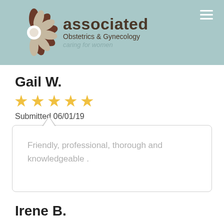[Figure (logo): Associated Obstetrics & Gynecology logo with flower graphic on teal background header]
Gail W.
[Figure (other): 5 yellow stars rating]
Submitted 06/01/19
Friendly, professional, thorough and knowledgeable .
Irene B.
[Figure (other): 5 yellow stars rating]